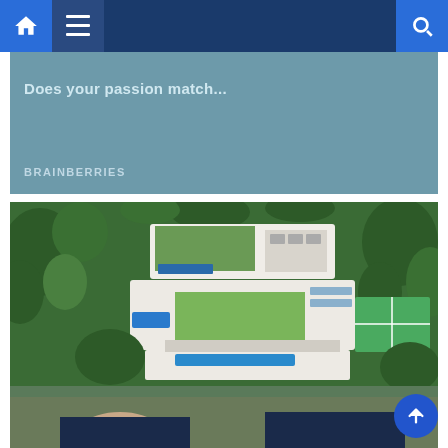Navigation bar with home, menu, and search icons
[Figure (screenshot): Partial advertisement card with teal/blue background and BRAINBERRIES branding, text partially visible]
[Figure (photo): Aerial photograph of a large luxury celebrity mansion with green rooftop, swimming pools, tennis court, and surrounding trees]
These Homes Are Truly Remarkable: Most Expensive Celebrity Houses
BRAINBERRIES
[Figure (photo): Partial photo of smiling women, bottom of page]